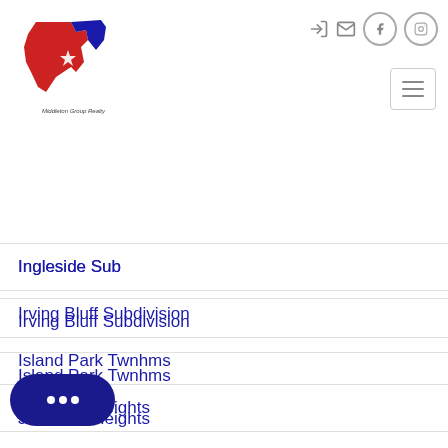Middleton Group Realty - navigation header with icons
[Figure (logo): Texas state shape logo in red and blue with star, Middleton Group Realty text below]
Ingleside Sub
Irving Bluff Subdivision
Island Park Twnhms
Jefferson Heights
Jenkins Acres Sub
John W. Ford Sub
Joh... Sub
Kings Crossing